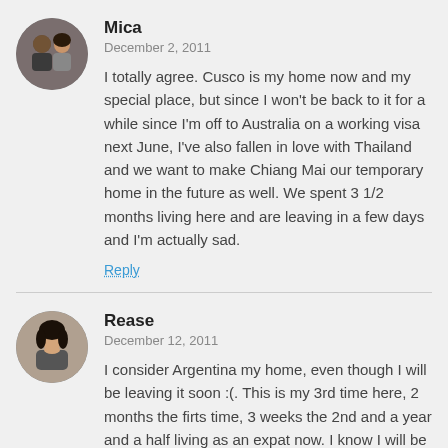[Figure (photo): Circular avatar photo of Mica, showing a man and woman together]
Mica
December 2, 2011
I totally agree. Cusco is my home now and my special place, but since I won't be back to it for a while since I'm off to Australia on a working visa next June, I've also fallen in love with Thailand and we want to make Chiang Mai our temporary home in the future as well. We spent 3 1/2 months living here and are leaving in a few days and I'm actually sad.
Reply
[Figure (photo): Circular avatar photo of Rease, showing a young woman with dark hair]
Rease
December 12, 2011
I consider Argentina my home, even though I will be leaving it soon :(. This is my 3rd time here, 2 months the firts time, 3 weeks the 2nd and a year and a half living as an expat now. I know I will be back because it just feels like home.
Reply